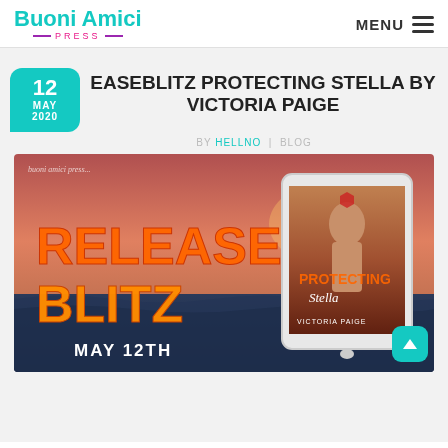Buoni Amici Press — MENU
RELEASEBLITZ PROTECTING STELLA BY VICTORIA PAIGE
BY HELLNO | BLOG
[Figure (photo): Release Blitz promotional banner for 'Protecting Stella' by Victoria Paige. Orange bold text reads 'RELEASE BLITZ' over an ocean sunset background. A tablet showing the book cover is on the right. Text reads 'MAY 12TH'. Buoni Amici Press branding in top left.]